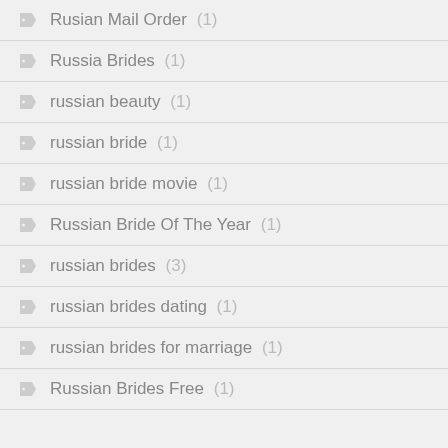Rusian Mail Order (1)
Russia Brides (1)
russian beauty (1)
russian bride (1)
russian bride movie (1)
Russian Bride Of The Year (1)
russian brides (3)
russian brides dating (1)
russian brides for marriage (1)
Russian Brides Free (1)